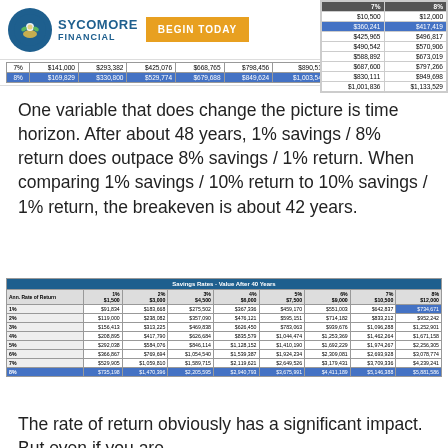SYCOMORE FINANCIAL — BEGIN TODAY
| 7% | 8% |
| --- | --- |
| $10,500 | $12,000 |
| $360,241 | $417,419 |
| $425,965 | $496,817 |
| $490,542 | $570,906 |
| $588,892 | $673,019 |
| $687,600 | $797,266 |
| $830,111 | $949,698 |
| $1,001,836 | $1,133,529 |
| 7% | 8% |  |  |  |  |  |  |
| --- | --- | --- | --- | --- | --- | --- | --- |
| 7% | $141,000 | $293,382 | $425,076 | $668,765 | $798,456 | $890,517 | $901,836 | $1,133,529 |
| 8% | $169,829 | $330,800 | $529,774 | $679,688 | $849,624 | $1,003,549 | $1,198,474 | $1,350,309 |
One variable that does change the picture is time horizon. After about 48 years, 1% savings / 8% return does outpace 8% savings / 1% return. When comparing 1% savings / 10% return to 10% savings / 1% return, the breakeven is about 42 years.
| Ann. Rate of Return | 1% $1,500 | 2% $3,000 | 3% $4,500 | 4% $6,000 | 5% $7,500 | 6% $9,000 | 7% $10,500 | 8% $12,000 |
| --- | --- | --- | --- | --- | --- | --- | --- | --- |
| 1% | $91,834 | $183,668 | $275,502 | $367,336 | $459,170 | $551,003 | $642,837 | $734,671 |
| 2% | $119,000 | $238,082 | $357,090 | $476,121 | $595,151 | $714,182 | $833,212 | $952,242 |
| 3% | $156,413 | $313,225 | $469,838 | $626,450 | $783,063 | $939,676 | $1,096,288 | $1,252,901 |
| 4% | $208,895 | $417,790 | $626,684 | $835,579 | $1,044,474 | $1,253,369 | $1,462,264 | $1,671,158 |
| 5% | $292,038 | $584,076 | $846,114 | $1,128,152 | $1,410,190 | $1,692,229 | $1,974,267 | $2,256,305 |
| 6% | $366,867 | $769,694 | $1,054,540 | $1,539,387 | $1,924,234 | $2,309,081 | $2,693,928 | $3,078,774 |
| 7% | $529,905 | $1,059,810 | $1,589,715 | $2,119,621 | $2,649,526 | $3,179,431 | $3,709,336 | $4,239,241 |
| 8% | $735,198 | $1,470,396 | $2,205,595 | $2,940,793 | $3,675,991 | $4,411,189 | $5,146,388 | $5,881,586 |
The rate of return obviously has a significant impact. But even if you are